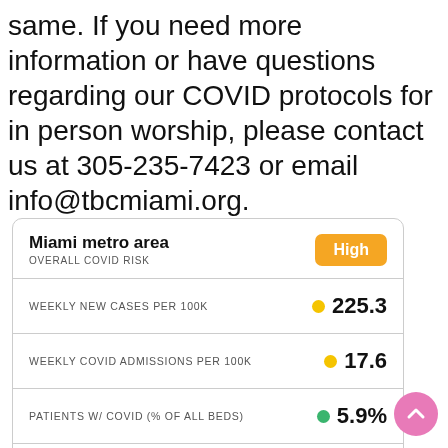same. If you need more information or have questions regarding our COVID protocols for in person worship, please contact us at 305-235-7423 or email info@tbcmiami.org.
| Metric | Value |
| --- | --- |
| Miami metro area — OVERALL COVID RISK | High |
| WEEKLY NEW CASES PER 100K | 225.3 |
| WEEKLY COVID ADMISSIONS PER 100K | 17.6 |
| PATIENTS W/ COVID (% OF ALL BEDS) | 5.9% |
CovidActNow.org — Last Updated 9/1/2022